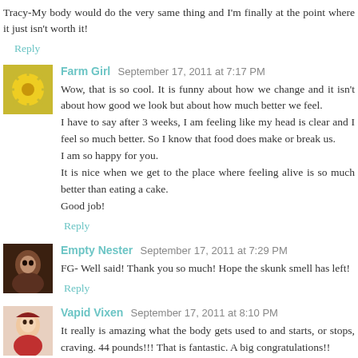Tracy-My body would do the very same thing and I'm finally at the point where it just isn't worth it!
Reply
Farm Girl  September 17, 2011 at 7:17 PM
Wow, that is so cool. It is funny about how we change and it isn't about how good we look but about how much better we feel.
I have to say after 3 weeks, I am feeling like my head is clear and I feel so much better. So I know that food does make or break us.
I am so happy for you.
It is nice when we get to the place where feeling alive is so much better than eating a cake.
Good job!
Reply
Empty Nester  September 17, 2011 at 7:29 PM
FG- Well said! Thank you so much! Hope the skunk smell has left!
Reply
Vapid Vixen  September 17, 2011 at 8:10 PM
It really is amazing what the body gets used to and starts, or stops, craving. 44 pounds!!! That is fantastic. A big congratulations!!